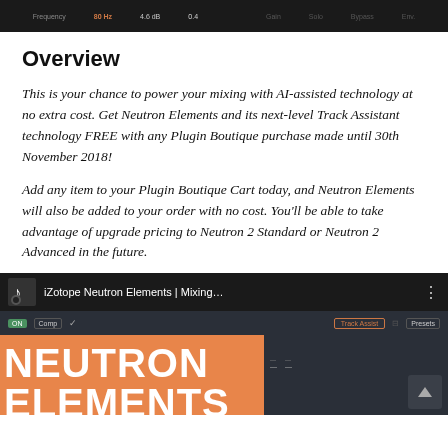[Figure (screenshot): Dark UI screenshot of audio plugin interface showing frequency parameters: Frequency 80Hz, 4.6dB, 0.4]
Overview
This is your chance to power your mixing with AI-assisted technology at no extra cost. Get Neutron Elements and its next-level Track Assistant technology FREE with any Plugin Boutique purchase made until 30th November 2018!
Add any item to your Plugin Boutique Cart today, and Neutron Elements will also be added to your order with no cost. You'll be able to take advantage of upgrade pricing to Neutron 2 Standard or Neutron 2 Advanced in the future.
[Figure (screenshot): Screenshot of iZotope Neutron Elements plugin video thumbnail showing the plugin UI with orange NEUTRON ELEMENTS logo text on orange background, Track Assistant and Presets buttons visible]